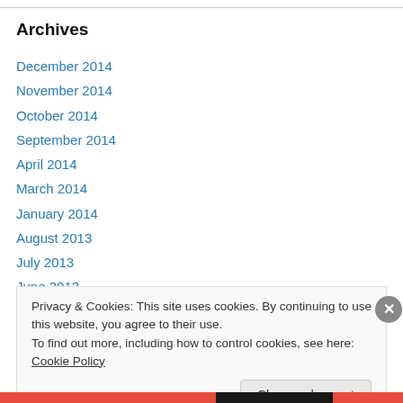Archives
December 2014
November 2014
October 2014
September 2014
April 2014
March 2014
January 2014
August 2013
July 2013
June 2013
Privacy & Cookies: This site uses cookies. By continuing to use this website, you agree to their use.
To find out more, including how to control cookies, see here: Cookie Policy
Close and accept